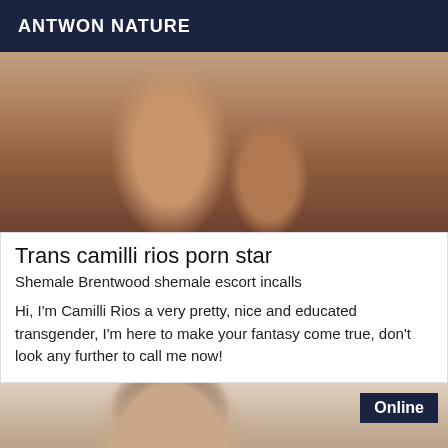ANTWON NATURE
[Figure (photo): Close-up photo of a person's back/torso in a suggestive pose against a light background]
Trans camilli rios porn star
Shemale Brentwood shemale escort incalls
Hi, I'm Camilli Rios a very pretty, nice and educated transgender, I'm here to make your fantasy come true, don't look any further to call me now!
[Figure (photo): Photo of a woman with dark hair looking at the camera, with an 'Online' badge in the top right corner]